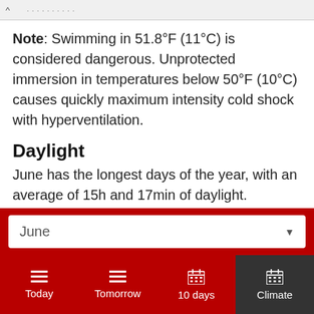(partial text cut off)
Note: Swimming in 51.8°F (11°C) is considered dangerous. Unprotected immersion in temperatures below 50°F (10°C) causes quickly maximum intensity cold shock with hyperventilation.
Daylight
June has the longest days of the year, with an average of 15h and 17min of daylight.
On the first day of June, sunrise is at 6:08 am and sunset at 9:16 pm. On the last day of the month,